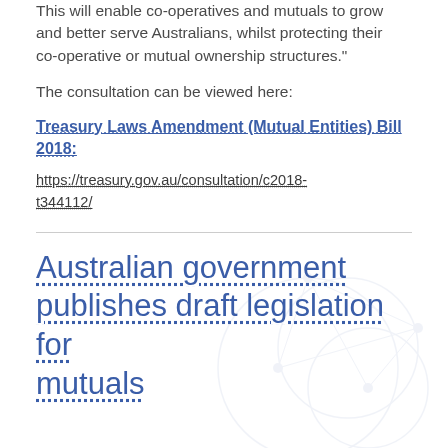This will enable co-operatives and mutuals to grow and better serve Australians, whilst protecting their co-operative or mutual ownership structures."
The consultation can be viewed here:
Treasury Laws Amendment (Mutual Entities) Bill 2018:
https://treasury.gov.au/consultation/c2018-t344112/
Australian government publishes draft legislation for mutuals